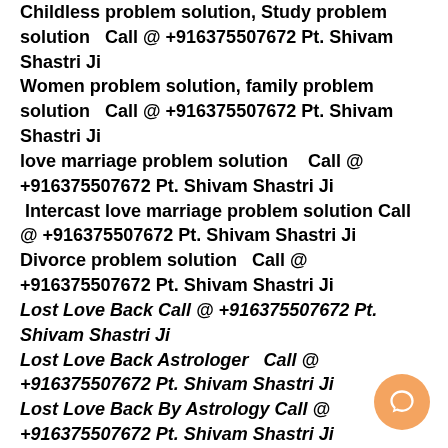Childless problem solution, Study problem solution  Call @ +916375507672 Pt. Shivam Shastri Ji
Women problem solution, family problem solution  Call @ +916375507672 Pt. Shivam Shastri Ji
love marriage problem solution   Call @ +916375507672 Pt. Shivam Shastri Ji
 Intercast love marriage problem solution Call @ +916375507672 Pt. Shivam Shastri Ji
Divorce problem solution  Call @ +916375507672 Pt. Shivam Shastri Ji
Lost Love Back Call @ +916375507672 Pt. Shivam Shastri Ji
Lost Love Back Astrologer  Call @ +916375507672 Pt. Shivam Shastri Ji
Lost Love Back By Astrology Call @ +916375507672 Pt. Shivam Shastri Ji
Lost Love Back By Black Magic  Call @ +916375507672 Pt. Shivam Shastri Ji
Lost Love Back By Kala Jadu  Call @ +916375507672 Pt. Shivam Shastri Ji
[Figure (other): Chat bubble icon (orange/salmon circle with white speech bubble icon) in bottom right corner]